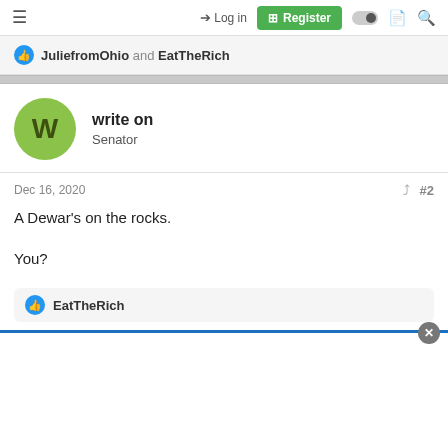≡  Login  Register
👍 JuliefromOhio and EatTheRich
write on
Senator
Dec 16, 2020  #2
A Dewar's on the rocks.

You?
👍 EatTheRich